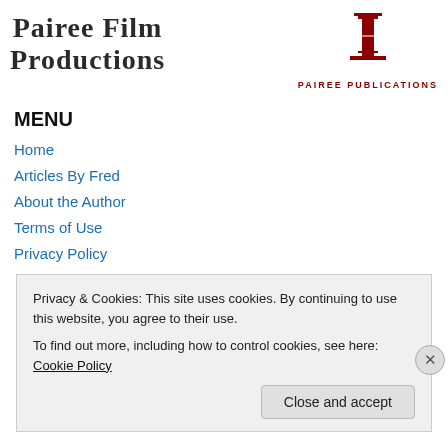Pairee Film Productions
[Figure (logo): Pairee Publications logo: red pillar/column icon above the text PAIREE PUBLICATIONS in red bold letters]
MENU
Home
Articles By Fred
About the Author
Terms of Use
Privacy Policy
Privacy & Cookies: This site uses cookies. By continuing to use this website, you agree to their use.
To find out more, including how to control cookies, see here: Cookie Policy
Close and accept